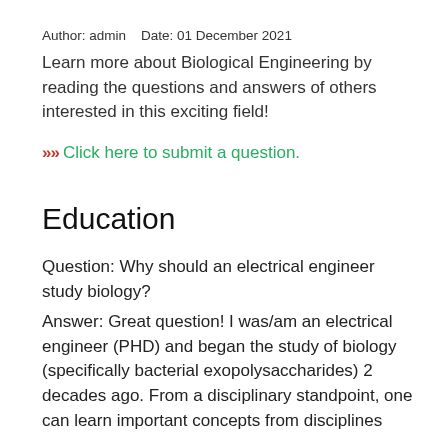Author: admin    Date: 01 December 2021
Learn more about Biological Engineering by reading the questions and answers of others interested in this exciting field!
>>> Click here to submit a question.
Education
Question: Why should an electrical engineer study biology?
Answer: Great question! I was/am an electrical engineer (PHD) and began the study of biology (specifically bacterial exopolysaccharides) 2 decades ago. From a disciplinary standpoint, one can learn important concepts from disciplines